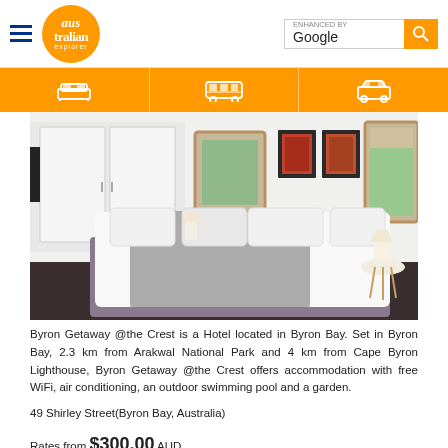australian explorer | ENHANCED BY Google [search]
[Figure (photo): Navigation bar with orange background showing icons for accommodation (bed), transport (bus), and car rental]
[Figure (photo): Hotel bedroom photo showing a neatly made white bed with grey accent pillows and blanket runner, white wardrobe, wooden-framed windows, two artworks on the wall, bedside lamp and table, dark carpet floor]
Byron Getaway @the Crest is a Hotel located in Byron Bay. Set in Byron Bay, 2.3 km from Arakwal National Park and 4 km from Cape Byron Lighthouse, Byron Getaway @the Crest offers accommodation with free WiFi, air conditioning, an outdoor swimming pool and a garden.
49 Shirley Street(Byron Bay, Australia)
Rates from $300.00 AUD